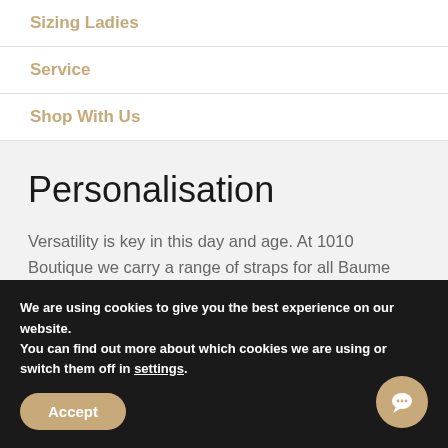Sizing Ladies
Service
Shop With Us
Personalisation
Versatility is key in this day and age. At 1010 Boutique we carry a range of straps for all Baume and Mercier timepieces in a variety of lengths. We recommend changing your straps
We are using cookies to give you the best experience on our website.
You can find out more about which cookies we are using or switch them off in settings.